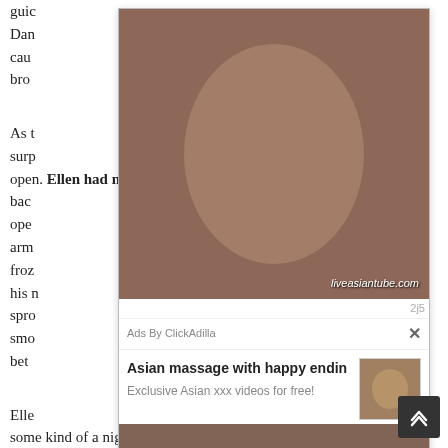guic                                                                                ns.
Dan
cau
bro

As t
surp
open. Ellen had not closed it when she had dashed
bac                                                                              he
ope
arm                                                                           ree
froz                                                                           on
his n
spro                                                                          s
smo
bet

Elle
some kind of a nightmare. She was standing naked in
[Figure (screenshot): Advertisement overlay showing adult content images with liveasiantube.com watermark, ClickAdilla ad network label, and 'Asian massage with happy endin' title with 'Exclusive Asian xxx videos for free!' subtitle]
Ads By ClickAdilla
Asian massage with happy endin
Exclusive Asian xxx videos for free!